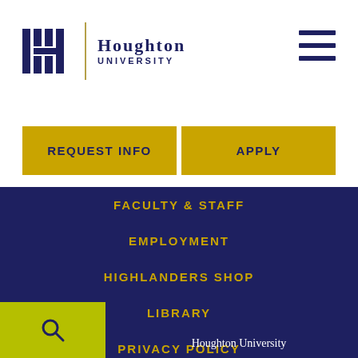[Figure (logo): Houghton University logo with stylized H icon and wordmark]
[Figure (other): Hamburger menu icon (three horizontal bars)]
REQUEST INFO
APPLY
FACULTY & STAFF
EMPLOYMENT
HIGHLANDERS SHOP
LIBRARY
PRIVACY POLICY
ADA
[Figure (other): Search icon (magnifying glass) in olive/yellow-green box]
Houghton University